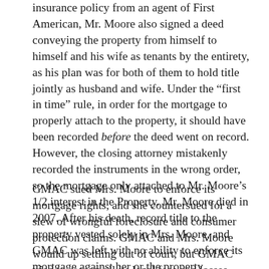insurance policy from an agent of First American, Mr. Moore also signed a deed conveying the property from himself to himself and his wife as tenants by the entirety, as his plan was for both of them to hold title jointly as husband and wife. Under the “first in time” rule, in order for the mortgage to properly attach to the property, it should have been recorded before the deed went on record. However, the closing attorney mistakenly recorded the instruments in the wrong order, so the mortgage only attached to Mr. Moore’s 1/2 interest in the Property. Mr. Moore died in 2007. After his death, record title to the property vested solely in Mrs. Moore, and GMAC was left with no ability to enforce its mortgage against her or the property.
GMAC sued Mrs. Moore to enforce its mortgage rights, and she countersued for a slew of wrongful foreclosure and consumer protection claims. GMAC and Mrs. Moore wound up settling out of court, but GMAC tried to recoup all its legal fees and losses against the lender’s title insurance policy